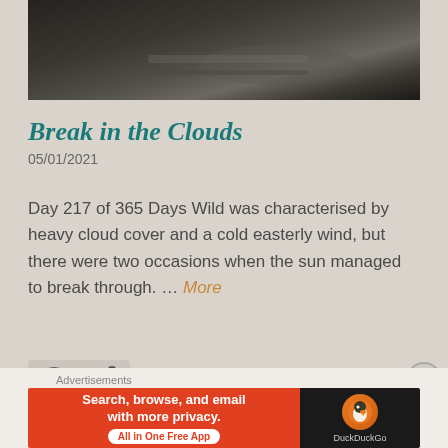[Figure (photo): Dark nighttime outdoor photograph, partially shown, appears to show a road or path with some reflective surfaces, very dark tones]
Break in the Clouds
05/01/2021
Day 217 of 365 Days Wild was characterised by heavy cloud cover and a cold easterly wind, but there were two occasions when the sun managed to break through. … More
[Figure (infographic): Comment icon (speech bubble) and link/share icon displayed as small grey symbols]
Advertisements
[Figure (screenshot): DuckDuckGo advertisement banner: orange left section reads 'Search, browse, and email with more privacy. All in One Free App', black right section shows DuckDuckGo logo and duck icon]